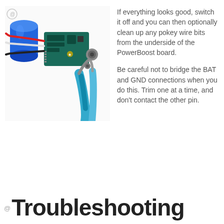[Figure (photo): Photo of a PowerBoost circuit board with wires (red, black, white) connected to a blue cylindrical battery, alongside a pair of blue-handled wire cutters/pliers on a white surface.]
If everything looks good, switch it off and you can then optionally clean up any pokey wire bits from the underside of the PowerBoost board.
Be careful not to bridge the BAT and GND connections when you do this. Trim one at a time, and don't contact the other pin.
Troubleshooting